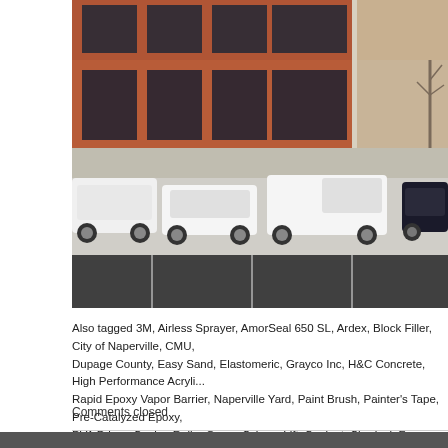[Figure (photo): Exterior photo of a brick commercial building with large dark windows and a parking lot in the foreground with several white vehicles and a dark sedan parked.]
Also tagged 3M, Airless Sprayer, AmorSeal 650 SL, Ardex, Block Filler, City of Naperville, CMU, Dupage County, Easy Sand, Elastomeric, Grayco Inc, H&C Concrete, High Performance Acryli… Rapid Epoxy Vapor Barrier, Naperville Yard, Paint Brush, Painter's Tape, Pre-Catalyzed Epoxy, PVA Primer Sealer, Roller Cover, Scissor Lift, Sealant, Sherlock Frame, Shermax, Sherwin Willi… Titan Tool, Urethane Alkyd Enamel, USG, Waterborne Acrylic Dry Fall, Wet Look, Wooster Brus…
Comments closed